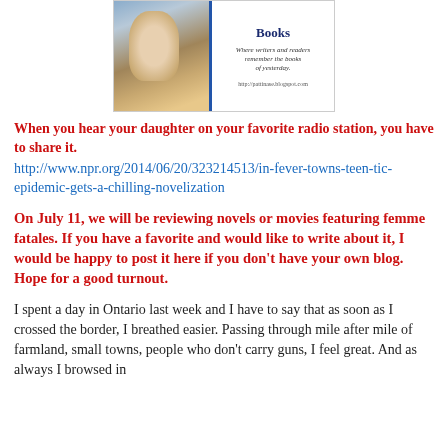[Figure (screenshot): Blog header image showing a book blog with a child in a hammock on the left and blog title 'Books' with tagline 'Where writers and readers remember the books of yesterday.' and URL http://pattinase.blogspot.com on the right]
When you hear your daughter on your favorite radio station, you have to share it.
http://www.npr.org/2014/06/20/323214513/in-fever-towns-teen-tic-epidemic-gets-a-chilling-novelization
On July 11, we will be reviewing novels or movies featuring femme fatales. If you have a favorite and would like to write about it, I would be happy to post it here if you don't have your own blog. Hope for a good turnout.
I spent a day in Ontario last week and I have to say that as soon as I crossed the border, I breathed easier. Passing through mile after mile of farmland, small towns, people who don't carry guns, I feel great. And as always I browsed in